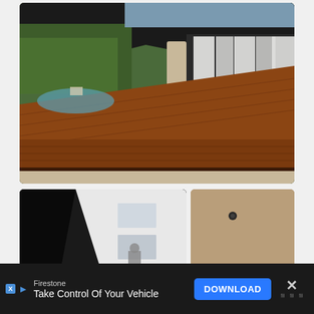[Figure (photo): Exterior architectural photo showing a modern house with a wide wooden deck/terrace, surrounded by lush green hedges and trees. A swimming pool is visible on the left side. The building has a flat overhanging roof with white curtains visible inside, and a wooden floor interior. Gravel ground at the bottom edge.]
[Figure (photo): Interior architectural photo split into two panels. Left panel shows a dark angular exterior overhang contrasting with a white modern building facade with windows, and a person visible inside. Right panel shows a warm golden-toned ceiling or metal panel with a small recessed light fixture and a diagonal strip of warm orange/yellow LED lighting in the corner.]
Firestone
Take Control Of Your Vehicle
DOWNLOAD